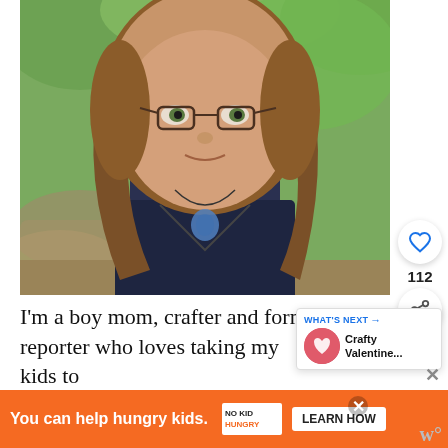[Figure (photo): A woman with glasses and shoulder-length auburn hair wearing a dark navy t-shirt and a blue pendant necklace, taking a selfie outdoors in a green wooded area with rocks in the background.]
I'm a boy mom, crafter and form reporter who loves taking my kids to superhero movies. Join me for a mix
WHAT'S NEXT → Crafty Valentine...
112
You can help hungry kids. NO KID HUNGRY LEARN HOW